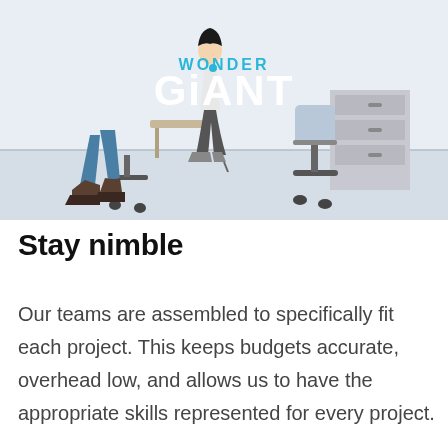[Figure (illustration): An illustrated scene of office workers in a modern workspace. Several figures are shown sitting and walking in an office environment with desks and chairs. The Wonder Giant logo appears in the center top area of the illustration in blue and white text.]
Stay nimble
Our teams are assembled to specifically fit each project. This keeps budgets accurate, overhead low, and allows us to have the appropriate skills represented for every project.